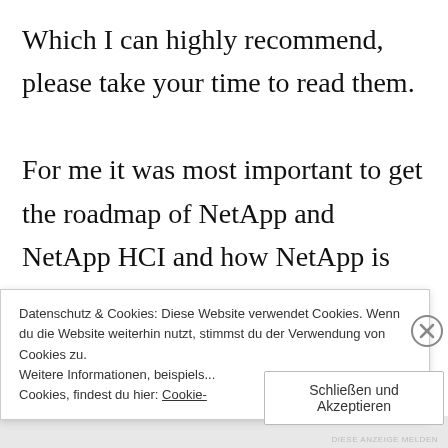Which I can highly recommend, please take your time to read them.

For me it was most important to get the roadmap of NetApp and NetApp HCI and how NetApp is defining the future of their products and solutions. Simplicity is the goal, not only for ONTAP but also for other NetApp
Datenschutz & Cookies: Diese Website verwendet Cookies. Wenn du die Website weiterhin nutzt, stimmst du der Verwendung von Cookies zu.
Weitere Informationen, beispiels... Cookies, findest du hier: Cookie-
Schließen und Akzeptieren
DIESE ANZEIGE MELDEN